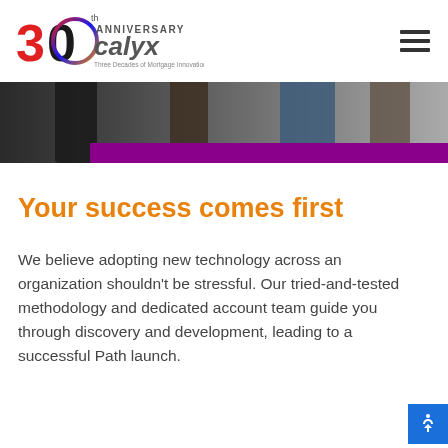30th Anniversary Calyx — Three Decades of Mortgage Innovation
[Figure (photo): Hero image showing people standing in a business/event setting, dark tones, with a purple banner below]
Your success comes first
We believe adopting new technology across an organization shouldn't be stressful. Our tried-and-tested methodology and dedicated account team guide you through discovery and development, leading to a successful Path launch.